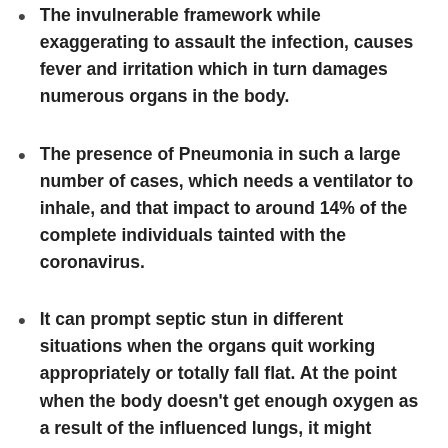The invulnerable framework while exaggerating to assault the infection, causes fever and irritation which in turn damages numerous organs in the body.
The presence of Pneumonia in such a large number of cases, which needs a ventilator to inhale, and that impact to around 14% of the complete individuals tainted with the coronavirus.
It can prompt septic stun in different situations when the organs quit working appropriately or totally fall flat. At the point when the body doesn't get enough oxygen as a result of the influenced lungs, it might intense respiratory misery disorder, additionally prevents kidneys from cleaning the harmed blood in turn. Around 6% of the individuals who got